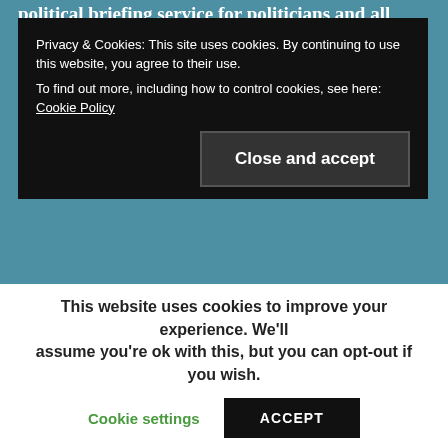political briefing service for politicians and all
[Figure (screenshot): Cookie consent overlay on a dark background, showing privacy notice with 'Close and accept' button]
Privacy & Cookies: This site uses cookies. By continuing to use this website, you agree to their use. To find out more, including how to control cookies, see here: Cookie Policy
[Figure (screenshot): Teal/blue image area below the black cookie overlay, part of a webpage background]
[Figure (screenshot): Brownish-gray image area, part of a webpage photo]
This website uses cookies to improve your experience. We'll assume you're ok with this, but you can opt-out if you wish.
Cookie settings   ACCEPT